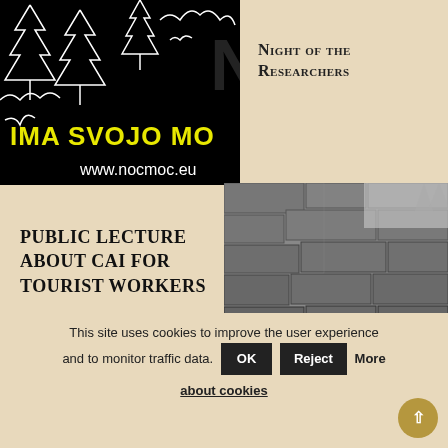[Figure (illustration): Black background image with white sketched trees and figures. Yellow text reads 'IMA SVOJO MO' and white text reads 'www.nocmoc.eu'. Partial 'N' visible on right edge.]
Night of the Researchers
Public lecture about CAI for tourist workers
[Figure (photo): Black and white close-up photograph of a stone wall corner, showing rough-cut masonry blocks against a light sky.]
This site uses cookies to improve the user experience and to monitor traffic data. OK Reject More about cookies